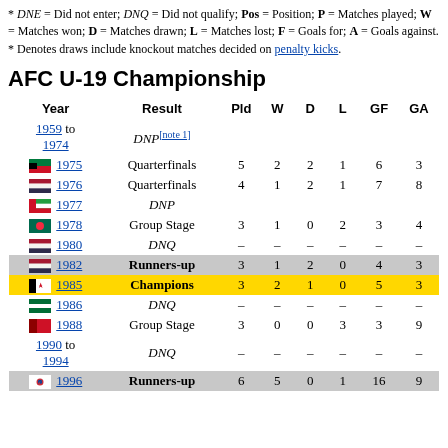* DNE = Did not enter; DNQ = Did not qualify; Pos = Position; P = Matches played; W = Matches won; D = Matches drawn; L = Matches lost; F = Goals for; A = Goals against.
* Denotes draws include knockout matches decided on penalty kicks.
AFC U-19 Championship
| Year | Result | Pld | W | D | L | GF | GA |
| --- | --- | --- | --- | --- | --- | --- | --- |
| 1959 to 1974 | DNP[note 1] |  |  |  |  |  |  |
| 1975 | Quarterfinals | 5 | 2 | 2 | 1 | 6 | 3 |
| 1976 | Quarterfinals | 4 | 1 | 2 | 1 | 7 | 8 |
| 1977 | DNP |  |  |  |  |  |  |
| 1978 | Group Stage | 3 | 1 | 0 | 2 | 3 | 4 |
| 1980 | DNQ | – | – | – | – | – | – |
| 1982 | Runners-up | 3 | 1 | 2 | 0 | 4 | 3 |
| 1985 | Champions | 3 | 2 | 1 | 0 | 5 | 3 |
| 1986 | DNQ | – | – | – | – | – | – |
| 1988 | Group Stage | 3 | 0 | 0 | 3 | 3 | 9 |
| 1990 to 1994 | DNQ | – | – | – | – | – | – |
| 1996 | Runners-up | 6 | 5 | 0 | 1 | 16 | 9 |